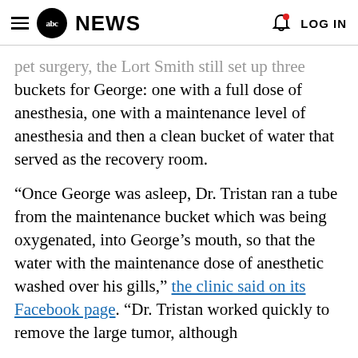abc NEWS  LOG IN
pet surgery, the Lort Smith still set up three buckets for George: one with a full dose of anesthesia, one with a maintenance level of anesthesia and then a clean bucket of water that served as the recovery room.
“Once George was asleep, Dr. Tristan ran a tube from the maintenance bucket which was being oxygenated, into George’s mouth, so that the water with the maintenance dose of anesthetic washed over his gills,” the clinic said on its Facebook page. “Dr. Tristan worked quickly to remove the large tumor, although